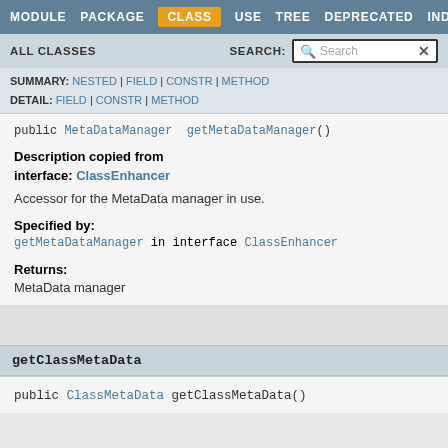MODULE   PACKAGE   CLASS   USE   TREE   DEPRECATED   INDEX
ALL CLASSES   SEARCH:  Search
SUMMARY: NESTED | FIELD | CONSTR | METHOD
DETAIL: FIELD | CONSTR | METHOD
public MetaDataManager getMetaDataManager()
Description copied from interface: ClassEnhancer
Accessor for the MetaData manager in use.
Specified by:
getMetaDataManager in interface ClassEnhancer
Returns:
MetaData manager
getClassMetaData
public ClassMetaData getClassMetaData()